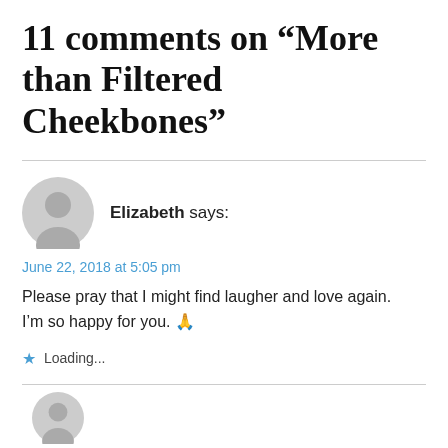11 comments on “More than Filtered Cheekbones”
Elizabeth says:
June 22, 2018 at 5:05 pm
Please pray that I might find laugher and love again. I’m so happy for you. 🙏
Loading...